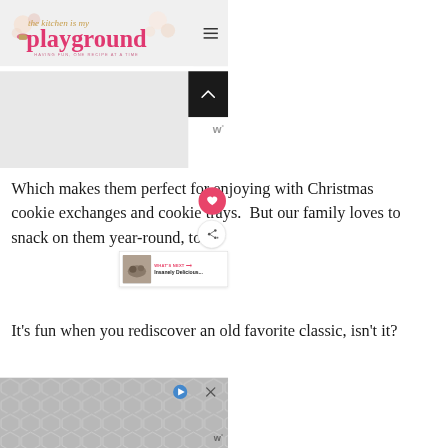the kitchen is my playground — HAVING FUN, ONE RECIPE AT A TIME
[Figure (logo): The Kitchen Is My Playground blog logo with decorative cupcakes and flowers]
Which makes them perfect for enjoying with Christmas cookie exchanges and cookie trays.  But our family loves to snack on them year-round, too.
It's fun when you rediscover an old favorite classic, isn't it?